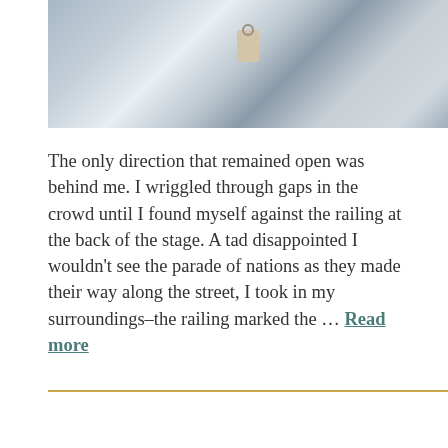[Figure (photo): Photograph of clothing on a rack with a hanging price tag visible, and a person wearing a gray top with a long necklace in the background.]
The only direction that remained open was behind me. I wriggled through gaps in the crowd until I found myself against the railing at the back of the stage. A tad disappointed I wouldn't see the parade of nations as they made their way along the street, I took in my surroundings–the railing marked the … Read more